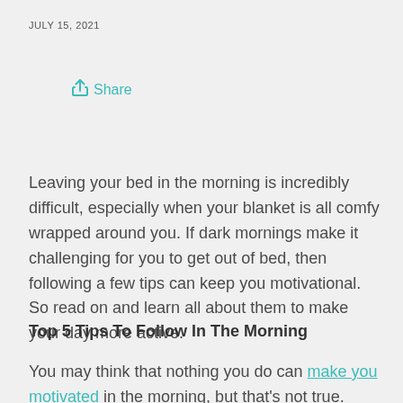JULY 15, 2021
Share
Leaving your bed in the morning is incredibly difficult, especially when your blanket is all comfy wrapped around you. If dark mornings make it challenging for you to get out of bed, then following a few tips can keep you motivational. So read on and learn all about them to make your day more active.
Top 5 Tips To Follow In The Morning
You may think that nothing you do can make you motivated in the morning, but that's not true. These top 5